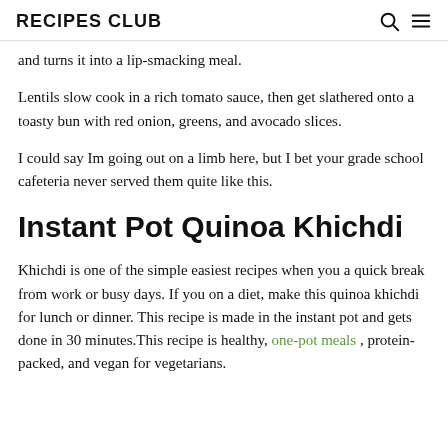RECIPES CLUB
and turns it into a lip-smacking meal.
Lentils slow cook in a rich tomato sauce, then get slathered onto a toasty bun with red onion, greens, and avocado slices.
I could say Im going out on a limb here, but I bet your grade school cafeteria never served them quite like this.
Instant Pot Quinoa Khichdi
Khichdi is one of the simple easiest recipes when you a quick break from work or busy days. If you on a diet, make this quinoa khichdi for lunch or dinner. This recipe is made in the instant pot and gets done in 30 minutes.This recipe is healthy, one-pot meals , protein-packed, and vegan for vegetarians.